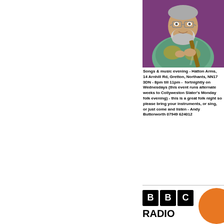[Figure (photo): Man with grey beard and glasses, smiling, wearing a colorful patterned shirt, holding a guitar, against a purple background]
Songs & music evening - Hatton Arms, 14 Arnhill Rd, Gretton, Northants, NN17 3DN - 8pm till 11pm -  fortnightly on Wednesdays (this event runs alternate weeks to Collyweston Slater's Monday folk evening) - this is a great folk night so please bring your instruments, or sing, or just come and listen - Andy Butterworth 07949 624012
[Figure (logo): BBC RADIO logo with black letter boxes and orange circle element]